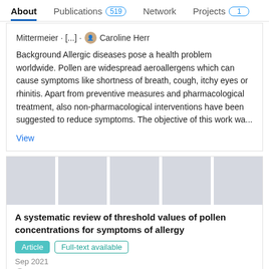About | Publications 519 | Network | Projects 1
Mittermeier · [...] · Caroline Herr
Background Allergic diseases pose a health problem worldwide. Pollen are widespread aeroallergens which can cause symptoms like shortness of breath, cough, itchy eyes or rhinitis. Apart from preventive measures and pharmacological treatment, also non-pharmacological interventions have been suggested to reduce symptoms. The objective of this work wa...
View
[Figure (photo): Five thumbnail image placeholders in a row, light blue-grey colored rectangles]
A systematic review of threshold values of pollen concentrations for symptoms of allergy
Article | Full-text available
Sep 2021